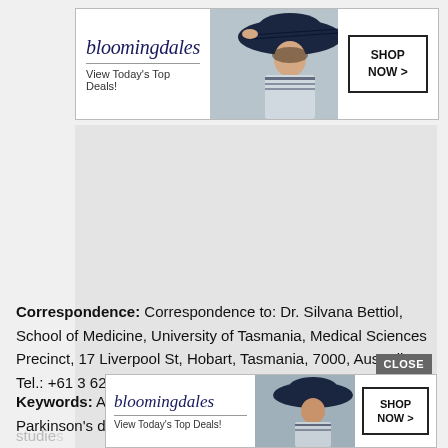[Figure (advertisement): Bloomingdale's top banner ad: 'View Today's Top Deals!' with SHOP NOW > button and woman in wide-brim hat]
[Figure (other): Gray placeholder content area]
Correspondence: Correspondence to: Dr. Silvana Bettiol, School of Medicine, University of Tasmania, Medical Sciences Precinct, 17 Liverpool St, Hobart, Tasmania, 7000, Australia. Tel.: +61 3 62264826;
Keywords: Alcohol, alcoholic beverages, alcohol drinking, Parkinson's disease, review, risk factors, case-c[ontrol] studies[...]le
[Figure (advertisement): Bloomingdale's bottom banner ad: 'View Today's Top Deals!' with SHOP NOW > button and woman in wide-brim hat, with CLOSE button overlay]